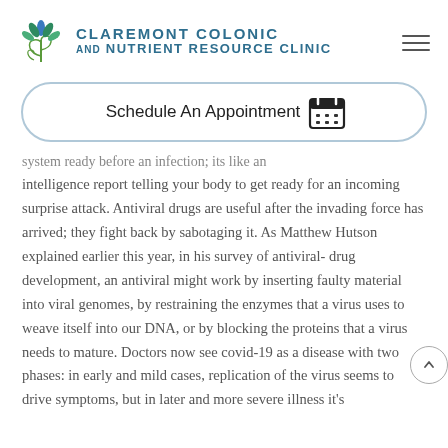Claremont Colonic and Nutrient Resource Clinic
Schedule An Appointment
system ready before an infection; its like an intelligence report telling your body to get ready for an incoming surprise attack. Antiviral drugs are useful after the invading force has arrived; they fight back by sabotaging it. As Matthew Hutson explained earlier this year, in his survey of antiviral-drug development, an antiviral might work by inserting faulty material into viral genomes, by restraining the enzymes that a virus uses to weave itself into our DNA, or by blocking the proteins that a virus needs to mature. Doctors now see covid-19 as a disease with two phases: in early and mild cases, replication of the virus seems to drive symptoms, but in later and more severe illness it's